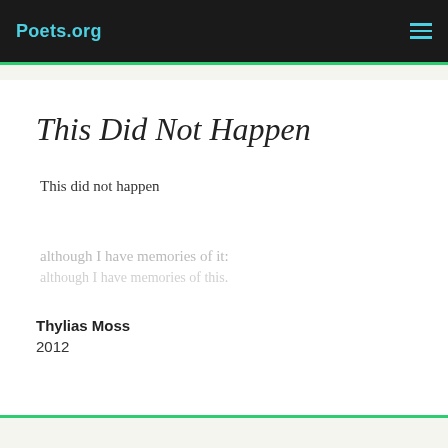Poets.org
This Did Not Happen
This did not happen
although I have memories of it:
Thylias Moss
2012